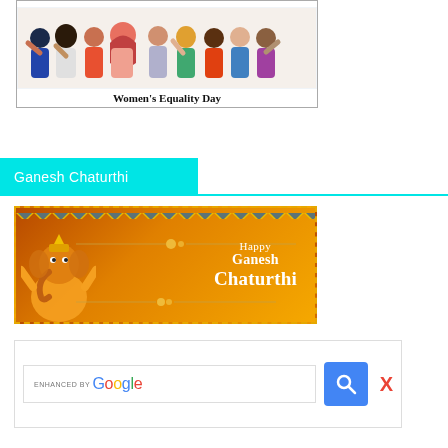[Figure (illustration): Illustration of diverse group of women celebrating Women's Equality Day, with text 'Women's Equality Day' below the image]
Ganesh Chaturthi
[Figure (illustration): Festive banner for Happy Ganesh Chaturthi with orange/brown gradient background, Ganesha illustration on left, and 'Happy Ganesh Chaturthi' text on right with decorative flags at top]
[Figure (screenshot): Google search bar with 'ENHANCED BY Google' text, search button in blue, and red X close button]